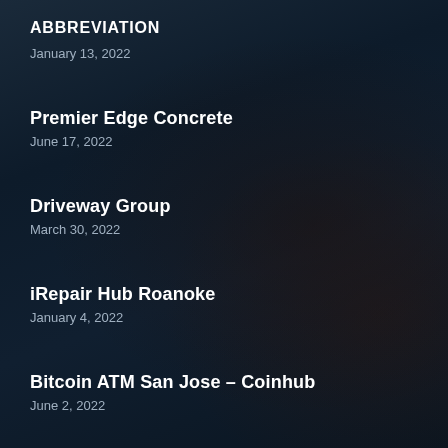ABBREVIATION
January 13, 2022
Premier Edge Concrete
June 17, 2022
Driveway Group
March 30, 2022
iRepair Hub Roanoke
January 4, 2022
Bitcoin ATM San Jose – Coinhub
June 2, 2022